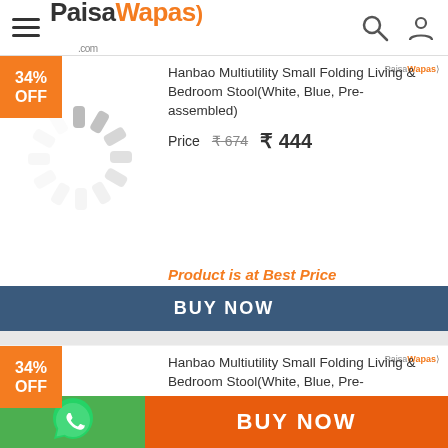PaisaWapas.com
[Figure (screenshot): Loading spinner image placeholder for product 1]
Hanbao Multiutility Small Folding Living & Bedroom Stool(White, Blue, Pre-assembled)
Price ₹674 ₹444
Product is at Best Price
BUY NOW
[Figure (screenshot): Loading spinner image placeholder for product 2]
Hanbao Multiutility Small Folding Living & Bedroom Stool(White, Blue, Pre-assembled)
Price ₹674 ₹444
[Figure (logo): WhatsApp icon in green circle]
BUY NOW